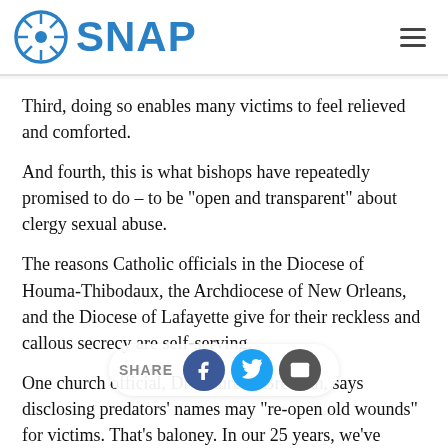SNAP
Third, doing so enables many victims to feel relieved and comforted.
And fourth, this is what bishops have repeatedly promised to do – to be "open and transparent" about clergy sexual abuse.
The reasons Catholic officials in the Diocese of Houma-Thibodaux, the Archdiocese of New Orleans, and the Diocese of Lafayette give for their reckless and callous secrecy are self-serving.
One church official, Dr Maureen Brennan, says disclosing predators' names may "re-open old wounds" for victims. That's baloney. In our 25 years, we've virtually never heard a victim say "I wish my bishop had kept abusers' names hidden." And even if one adult survivor might feel that way, simple